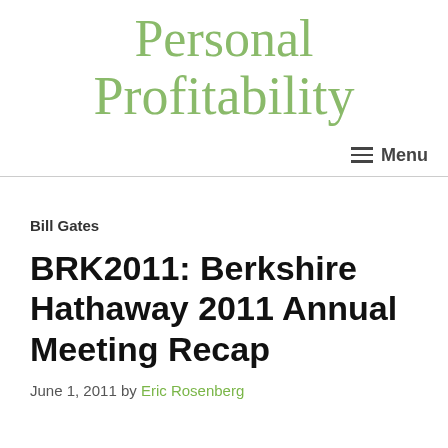Personal Profitability
Menu
Bill Gates
BRK2011: Berkshire Hathaway 2011 Annual Meeting Recap
June 1, 2011 by Eric Rosenberg